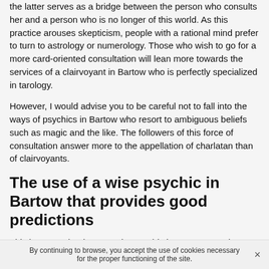the latter serves as a bridge between the person who consults her and a person who is no longer of this world. As this practice arouses skepticism, people with a rational mind prefer to turn to astrology or numerology. Those who wish to go for a more card-oriented consultation will lean more towards the services of a clairvoyant in Bartow who is perfectly specialized in tarology.
However, I would advise you to be careful not to fall into the ways of psychics in Bartow who resort to ambiguous beliefs such as magic and the like. The followers of this force of consultation answer more to the appellation of charlatan than of clairvoyants.
The use of a wise psychic in Bartow that provides good predictions
This last one, that is to say the psychic in Bartow must be
By continuing to browse, you accept the use of cookies necessary for the proper functioning of the site.